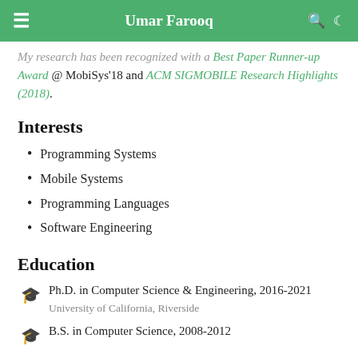Umar Farooq
My research has been recognized with a Best Paper Runner-up Award @ MobiSys'18 and ACM SIGMOBILE Research Highlights (2018).
Interests
Programming Systems
Mobile Systems
Programming Languages
Software Engineering
Education
Ph.D. in Computer Science & Engineering, 2016-2021
University of California, Riverside
B.S. in Computer Science, 2008-2012